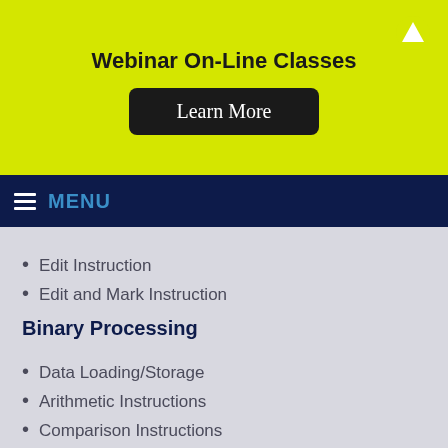Webinar On-Line Classes
[Figure (other): Learn More button on yellow banner]
MENU
Edit Instruction
Edit and Mark Instruction
Binary Processing
Data Loading/Storage
Arithmetic Instructions
Comparison Instructions
Conversion Instructions
Table Processing